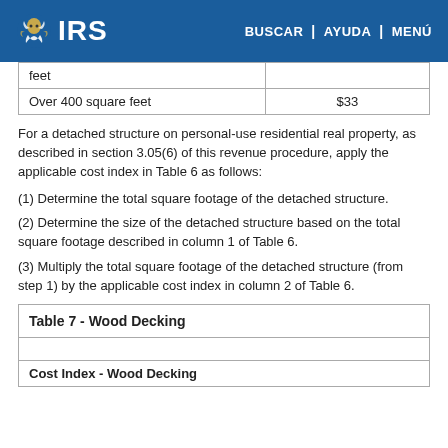IRS | BUSCAR | AYUDA | MENÚ
|  |  |
| --- | --- |
| feet |  |
| Over 400 square feet | $33 |
For a detached structure on personal-use residential real property, as described in section 3.05(6) of this revenue procedure, apply the applicable cost index in Table 6 as follows:
(1) Determine the total square footage of the detached structure.
(2) Determine the size of the detached structure based on the total square footage described in column 1 of Table 6.
(3) Multiply the total square footage of the detached structure (from step 1) by the applicable cost index in column 2 of Table 6.
| Table 7 - Wood Decking |
| --- |
| Cost Index - Wood Decking |